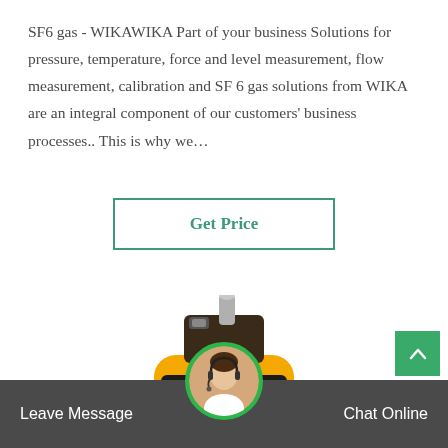SF6 gas - WIKAWIKA Part of your business Solutions for pressure, temperature, force and level measurement, flow measurement, calibration and SF 6 gas solutions from WIKA are an integral component of our customers' business processes.. This is why we…
Get Price
[Figure (photo): Yellow handheld gas and dust particle detector device displaying 20.95 on its screen]
Leave Message
[Figure (photo): Customer service avatar photo of a woman wearing a headset]
Chat Online